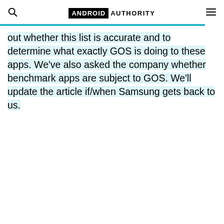Android Authority
out whether this list is accurate and to determine what exactly GOS is doing to these apps. We've also asked the company whether benchmark apps are subject to GOS. We'll update the article if/when Samsung gets back to us.